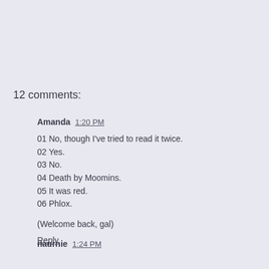12 comments:
Amanda  1:20 PM
01 No, though I've tried to read it twice.
02 Yes.
03 No.
04 Death by Moomins.
05 It was red.
06 Phlox.

(Welcome back, gal)

Reply
naurnie  1:24 PM